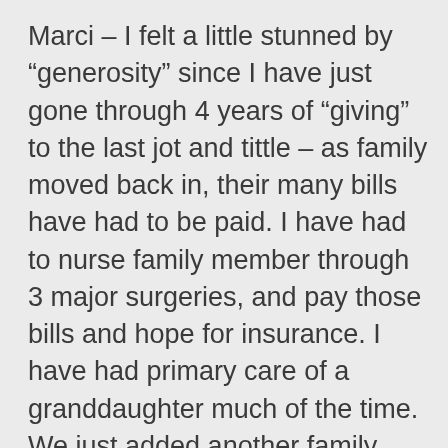Marci – I felt a little stunned by “generosity” since I have just gone through 4 years of “giving” to the last jot and tittle – as family moved back in, their many bills have had to be paid. I have had to nurse family member through 3 major surgeries, and pay those bills and hope for insurance. I have had primary care of a granddaughter much of the time. We just added another family member in need. I’ve nearly depleted my retirement savings, SO it strikes me that all this giving must not have been with the happiest